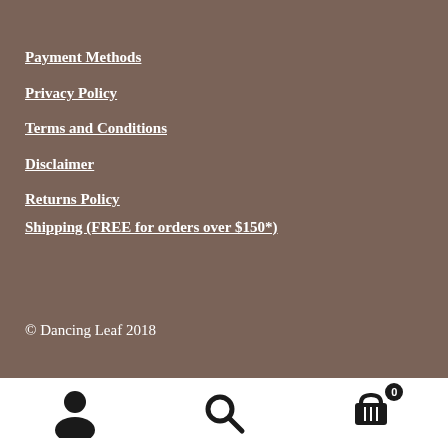Payment Methods
Privacy Policy
Terms and Conditions
Disclaimer
Returns Policy
Shipping (FREE for orders over $150*)
© Dancing Leaf 2018